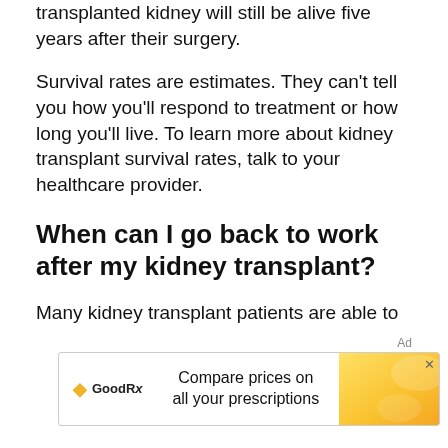transplanted kidney will still be alive five years after their surgery.
Survival rates are estimates. They can't tell you how you'll respond to treatment or how long you'll live. To learn more about kidney transplant survival rates, talk to your healthcare provider.
When can I go back to work after my kidney transplant?
Many kidney transplant patients are able to
[Figure (infographic): GoodRx advertisement banner with logo, text 'Compare prices on all your prescriptions', yellow gradient image on right, and close button (X) in top right corner.]